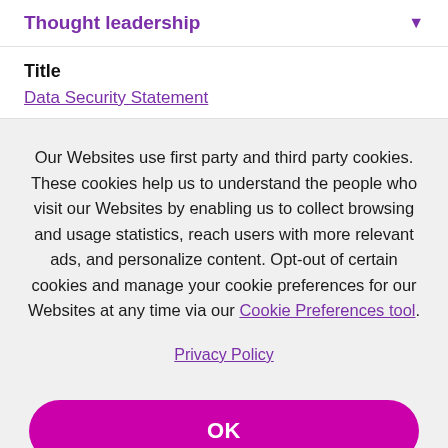Thought leadership
Title
Data Security Statement
Our Websites use first party and third party cookies. These cookies help us to understand the people who visit our Websites by enabling us to collect browsing and usage statistics, reach users with more relevant ads, and personalize content. Opt-out of certain cookies and manage your cookie preferences for our Websites at any time via our Cookie Preferences tool.
Privacy Policy
OK